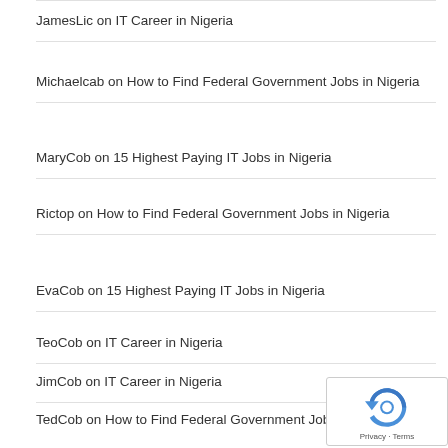JamesLic on IT Career in Nigeria
Michaelcab on How to Find Federal Government Jobs in Nigeria
MaryCob on 15 Highest Paying IT Jobs in Nigeria
Rictop on How to Find Federal Government Jobs in Nigeria
EvaCob on 15 Highest Paying IT Jobs in Nigeria
TeoCob on IT Career in Nigeria
JimCob on IT Career in Nigeria
TedCob on How to Find Federal Government Jobs in Nigeria
Rodneynah on How to Get a Job in Lagos